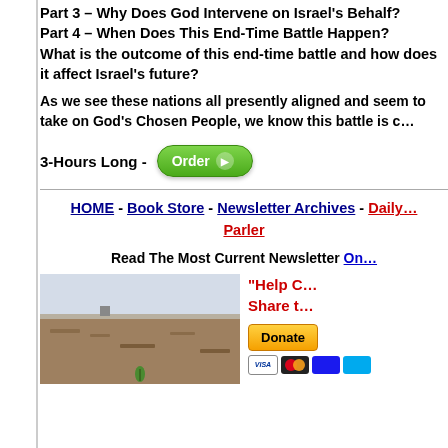Part 3 – Why Does God Intervene on Israel's Behalf?
Part 4 – When Does This End-Time Battle Happen?
What is the outcome of this end-time battle and how does it affect Israel's future?
As we see these nations all presently aligned and seem to take on God's Chosen People, we know this battle is c…
3-Hours Long - [Order button]
HOME - Book Store - Newsletter Archives - Daily … Parler
Read The Most Current Newsletter On…
[Figure (photo): Photo of a dry, arid landscape with brown earth and a small green plant.]
"Help C… Share t…